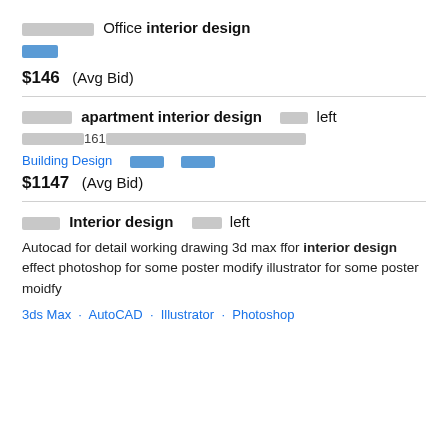██████████ Office interior design
████ (blue link)
$146  (Avg Bid)
███████ apartment interior design  ████ left
██████████161████████████████████████
Building Design  █████  █████
$1147  (Avg Bid)
█████ Interior design  █████ left
Autocad for detail working drawing 3d max ffor interior design effect photoshop for some poster modify illustrator for some poster moidfy
3ds Max · AutoCAD · Illustrator · Photoshop